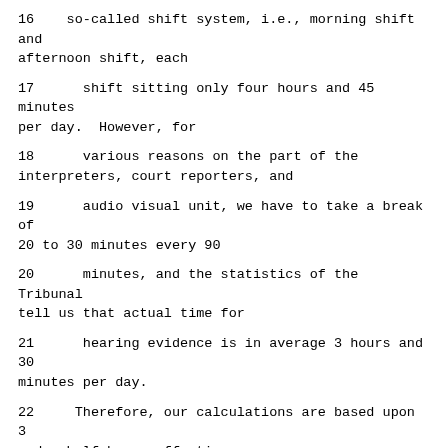16   so-called shift system, i.e., morning shift and afternoon shift, each
17      shift sitting only four hours and 45 minutes per day.  However, for
18      various reasons on the part of the interpreters, court reporters, and
19      audio visual unit, we have to take a break of 20 to 30 minutes every 90
20      minutes, and the statistics of the Tribunal tell us that actual time for
21      hearing evidence is in average 3 hours and 30 minutes per day.
22      Therefore, our calculations are based upon 3 and a half hours effective